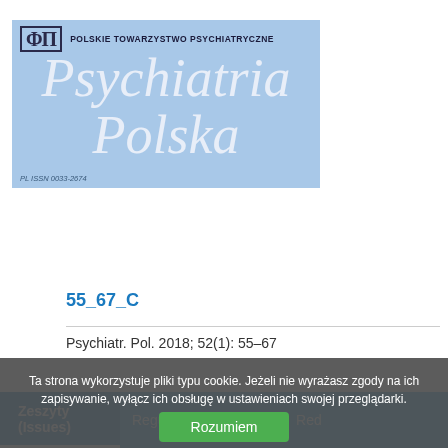[Figure (logo): Psychiatria Polska journal header banner with PTP logo, organization name 'POLSKIE TOWARZYSTWO PSYCHIATRYCZNE', and large italic title 'Psychiatria Polska' on blue background with ISSN PL ISSN 0033-2674]
Zeszyty (Issues)   Regulamin (Regulations)   Red
55_67_C
Psychiatr. Pol. 2018; 52(1): 55–67
Ta strona wykorzystuje pliki typu cookie. Jeżeli nie wyrażasz zgody na ich zapisywanie, wyłącz ich obsługę w ustawieniach swojej przeglądarki.
Rozumiem